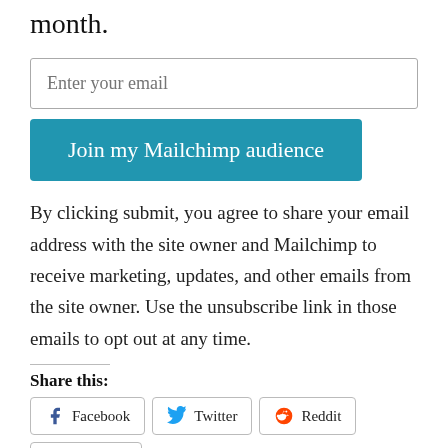month.
[Figure (other): Email input field with placeholder text 'Enter your email']
[Figure (other): Button labeled 'Join my Mailchimp audience' with blue background]
By clicking submit, you agree to share your email address with the site owner and Mailchimp to receive marketing, updates, and other emails from the site owner. Use the unsubscribe link in those emails to opt out at any time.
Share this:
[Figure (other): Social sharing buttons: Facebook, Twitter, Reddit, LinkedIn, Email]